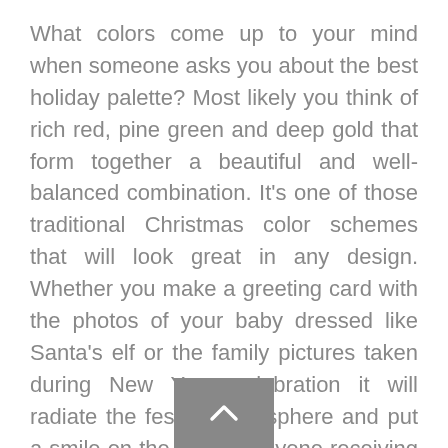What colors come up to your mind when someone asks you about the best holiday palette? Most likely you think of rich red, pine green and deep gold that form together a beautiful and well-balanced combination. It's one of those traditional Christmas color schemes that will look great in any design. Whether you make a greeting card with the photos of your baby dressed like Santa's elf or the family pictures taken during New Year celebration it will radiate the festive atmosphere and put a smile on the face of anyone receiving such a DIY gift. Those who are drawn to classic Christmas cards will surely adore this design and the chosen color palette!